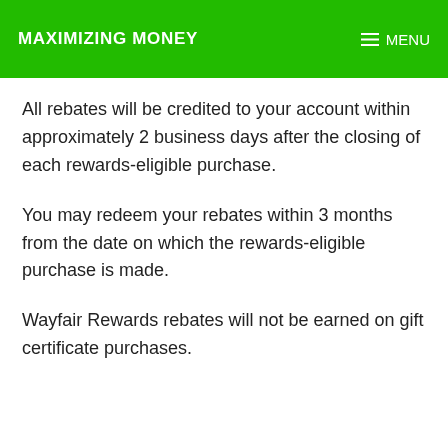MAXIMIZING MONEY  MENU
All rebates will be credited to your account within approximately 2 business days after the closing of each rewards-eligible purchase.
You may redeem your rebates within 3 months from the date on which the rewards-eligible purchase is made.
Wayfair Rewards rebates will not be earned on gift certificate purchases.